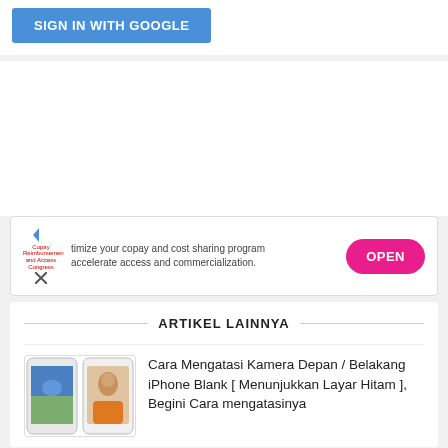[Figure (screenshot): Blue 'SIGN IN WITH GOOGLE' button]
[Figure (screenshot): Advertisement banner: 'timize your copay and cost sharing program accelerate access and commercialization.' with OPEN button]
ARTIKEL LAINNYA
[Figure (photo): Two iPhones shown side by side - one with landscape wallpaper, one with selfie of woman]
Cara Mengatasi Kamera Depan / Belakang iPhone Blank [ Menunjukkan Layar Hitam ], Begini Cara mengatasinya